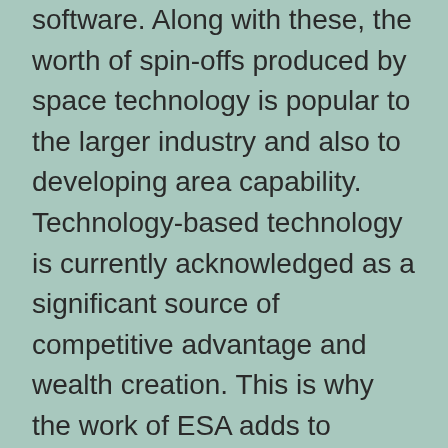software. Along with these, the worth of spin-offs produced by space technology is popular to the larger industry and also to developing area capability. Technology-based technology is currently acknowledged as a significant source of competitive advantage and wealth creation. This is why the work of ESA adds to Europe's development, as well as it likewise supplies the essential enabling innovations of the understanding society.
The development of modern technology is a continuous process of renovation. It allows people to create things better as well as faster,